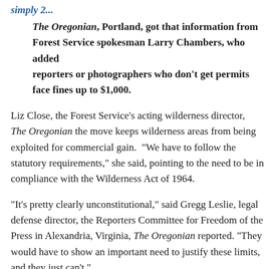simply 2...
The Oregonian, Portland, got that information from Forest Service spokesman Larry Chambers, who added reporters or photographers who don't get permits face fines up to $1,000.
Liz Close, the Forest Service's acting wilderness director, told The Oregonian the move keeps wilderness areas from being exploited for commercial gain. "We have to follow the statutory requirements," she said, pointing to the need to be in compliance with the Wilderness Act of 1964.
"It's pretty clearly unconstitutional," said Gregg Leslie, legal defense director, the Reporters Committee for Freedom of the Press in Alexandria, Virginia, The Oregonian reported. "They would have to show an important need to justify these limits, and they just can't."